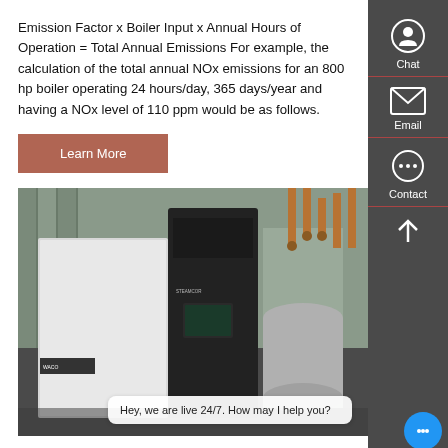Emission Factor x Boiler Input x Annual Hours of Operation = Total Annual Emissions For example, the calculation of the total annual NOx emissions for an 800 hp boiler operating 24 hours/day, 365 days/year and having a NOx level of 110 ppm would be as follows.
Learn More
[Figure (photo): Industrial boiler equipment in a facility — a large white and black boiler unit with pipes and copper/steel fittings in an industrial building interior.]
Hey, we are live 24/7. How may I help you?